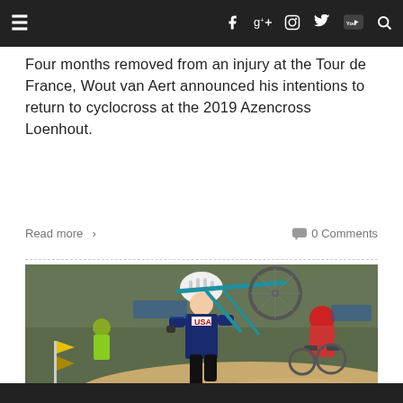Navigation bar with hamburger menu, social icons (Facebook, Google+, Instagram, Twitter, YouTube), and search
Four months removed from an injury at the Tour de France, Wout van Aert announced his intentions to return to cyclocross at the 2019 Azencross Loenhout.
Read more  >     0 Comments
[Figure (photo): Cyclocross race scene: a USA-kitted rider carries a cyclocross bike over a sandy/muddy section, white helmet, while other riders follow behind in a group, outdoor crowd in background.]